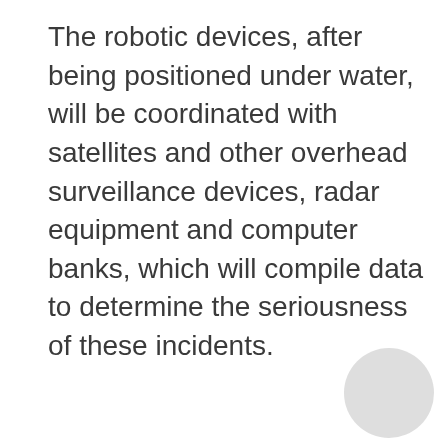The robotic devices, after being positioned under water, will be coordinated with satellites and other overhead surveillance devices, radar equipment and computer banks, which will compile data to determine the seriousness of these incidents.